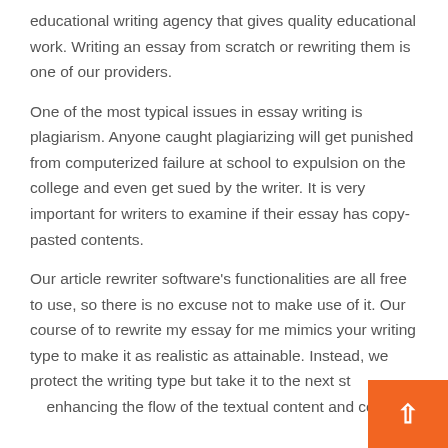educational writing agency that gives quality educational work. Writing an essay from scratch or rewriting them is one of our providers.
One of the most typical issues in essay writing is plagiarism. Anyone caught plagiarizing will get punished from computerized failure at school to expulsion on the college and even get sued by the writer. It is very important for writers to examine if their essay has copy-pasted contents.
Our article rewriter software's functionalities are all free to use, so there is no excuse not to make use of it. Our course of to rewrite my essay for me mimics your writing type to make it as realistic as attainable. Instead, we protect the writing type but take it to the next stage by enhancing the flow of the textual content and co...